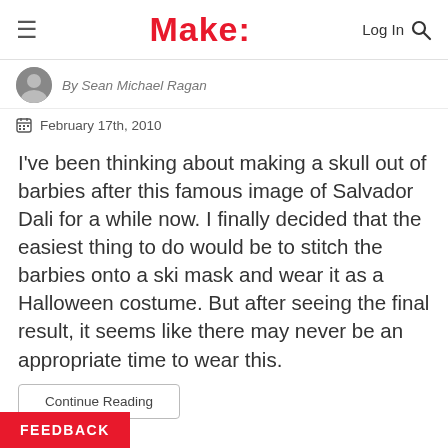Make:
By Sean Michael Ragan
February 17th, 2010
I've been thinking about making a skull out of barbies after this famous image of Salvador Dali for a while now. I finally decided that the easiest thing to do would be to stitch the barbies onto a ski mask and wear it as a Halloween costume. But after seeing the final result, it seems like there may never be an appropriate time to wear this.
Continue Reading
FEEDBACK